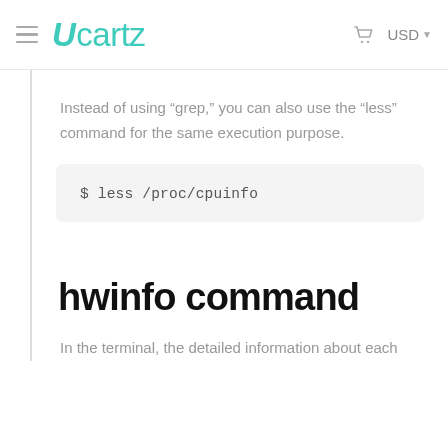Ucartz  USD
Instead of using “grep,” you can also use the “less” command for the same execution purpose.
$ less /proc/cpuinfo
hwinfo command
In the terminal, the detailed information about each